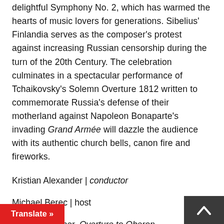delightful Symphony No. 2, which has warmed the hearts of music lovers for generations. Sibelius' Finlandia serves as the composer's protest against increasing Russian censorship during the turn of the 20th Century. The celebration culminates in a spectacular performance of Tchaikovsky's Solemn Overture 1812 written to commemorate Russia's defense of their motherland against Napoleon Bonaparte's invading Grand Armée will dazzle the audience with its authentic church bells, canon fire and fireworks.
Kristian Alexander | conductor
Michael Berec | host
C.M. von Weber, Overture to Oberon
Brahms, Symphony No. 2 in D major, Op. 73
Sibelius, Finlandia, Op. 26/7
arch